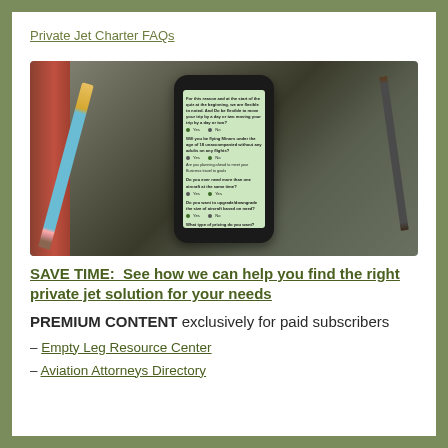Private Jet Charter FAQs
[Figure (photo): A smartphone displaying a private jet quiz/questionnaire app with green-tinted screen, lying on a grey textured surface alongside pencils and a red notebook]
SAVE TIME:  See how we can help you find the right private jet solution for your needs
PREMIUM CONTENT exclusively for paid subscribers
– Empty Leg Resource Center
– Aviation Attorneys Directory